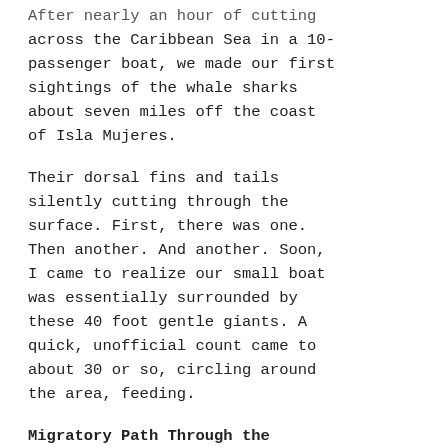After nearly an hour of cutting across the Caribbean Sea in a 10-passenger boat, we made our first sightings of the whale sharks about seven miles off the coast of Isla Mujeres.
Their dorsal fins and tails silently cutting through the surface. First, there was one. Then another. And another. Soon, I came to realize our small boat was essentially surrounded by these 40 foot gentle giants. A quick, unofficial count came to about 30 or so, circling around the area, feeding.
Migratory Path Through the Caribbean
From mid-May through mid-